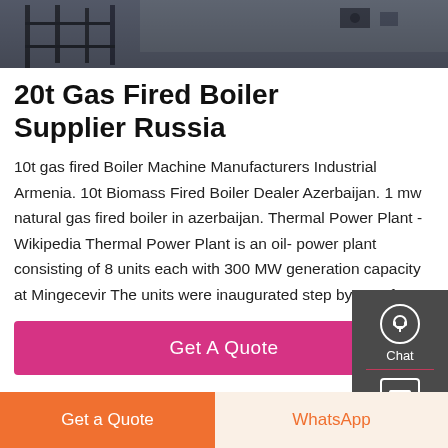[Figure (photo): Industrial boiler or factory equipment photo showing scaffolding and machinery in dark tones]
20t Gas Fired Boiler Supplier Russia
10t gas fired Boiler Machine Manufacturers Industrial Armenia. 10t Biomass Fired Boiler Dealer Azerbaijan. 1 mw natural gas fired boiler in azerbaijan. Thermal Power Plant - Wikipedia Thermal Power Plant is an oil- power plant consisting of 8 units each with 300 MW generation capacity at Mingecevir The units were inaugurated step by step from
Get A Quote
Get a Quote
WhatsApp